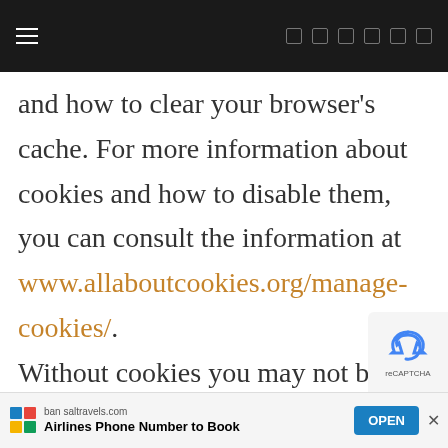Navigation bar with hamburger menu and icons
and how to clear your browser's cache. For more information about cookies and how to disable them, you can consult the information at www.allaboutcookies.org/manage-cookies/.
Without cookies you may not be able to take full advantage of the
bansaltravels.com Airlines Phone Number to Book OPEN